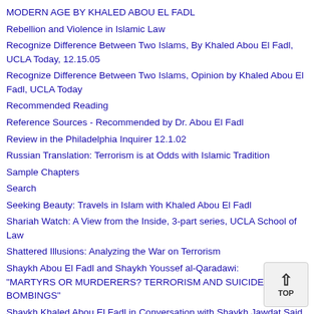MODERN AGE BY KHALED ABOU EL FADL
Rebellion and Violence in Islamic Law
Recognize Difference Between Two Islams, By Khaled Abou El Fadl, UCLA Today, 12.15.05
Recognize Difference Between Two Islams, Opinion by Khaled Abou El Fadl, UCLA Today
Recommended Reading
Reference Sources - Recommended by Dr. Abou El Fadl
Review in the Philadelphia Inquirer 12.1.02
Russian Translation: Terrorism is at Odds with Islamic Tradition
Sample Chapters
Search
Seeking Beauty: Travels in Islam with Khaled Abou El Fadl
Shariah Watch: A View from the Inside, 3-part series, UCLA School of Law
Shattered Illusions: Analyzing the War on Terrorism
Shaykh Abou El Fadl and Shaykh Youssef al-Qaradawi: "MARTYRS OR MURDERERS? TERRORISM AND SUICIDE BOMBINGS"
Shaykh Khaled Abou El Fadl in Conversation with Shaykh Jawdat Said
Speaking in God's Name: Islamic Law, Authority and Women
Sunnah of the Beloved
Terrorism is at Odds with Islamic Tradition, Los Angeles Times, August 22, 2001